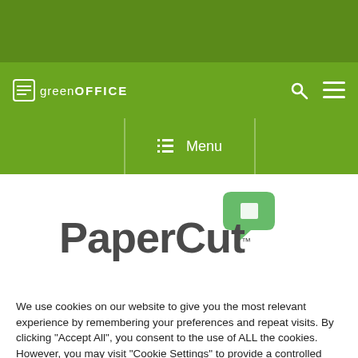[Figure (logo): GreenOffice logo in white on green background with search and menu icons]
[Figure (logo): PaperCut logo with green speech bubble icon and dark grey wordmark]
We use cookies on our website to give you the most relevant experience by remembering your preferences and repeat visits. By clicking “Accept All”, you consent to the use of ALL the cookies. However, you may visit "Cookie Settings" to provide a controlled consent.